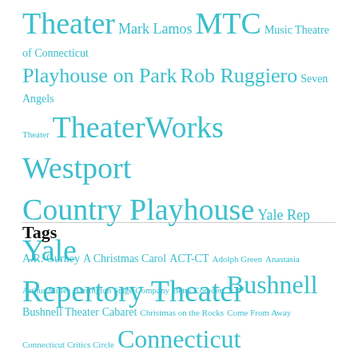Theater Mark Lamos MTC Music Theatre of Connecticut Playhouse on Park Rob Ruggiero Seven Angels Theater TheaterWorks Westport Country Playhouse Yale Rep Yale Repertory Theater
Tags
A.R. Gurney A Christmas Carol ACT-CT Adolph Green Anastasia Arthur Miller Barrington Stage Company Betty Comden Bushnell Bushnell Theater Cabaret Christmas on the Rocks Come From Away Connecticut Critics Circle Connecticut Repertory